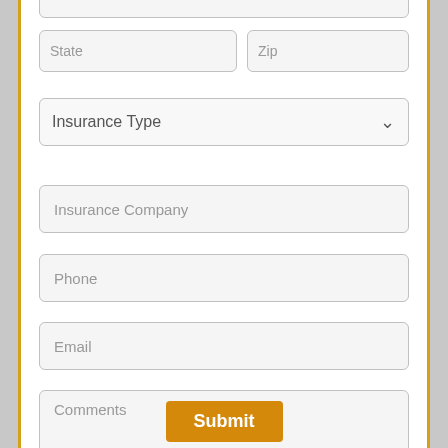State
Zip
Insurance Type
Insurance Company
Phone
Email
Comments
Submit